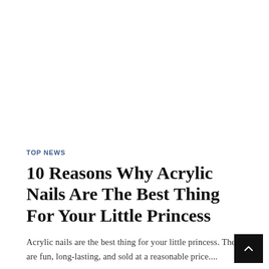TOP NEWS
10 Reasons Why Acrylic Nails Are The Best Thing For Your Little Princess
Acrylic nails are the best thing for your little princess. They are fun, long-lasting, and sold at a reasonable price....